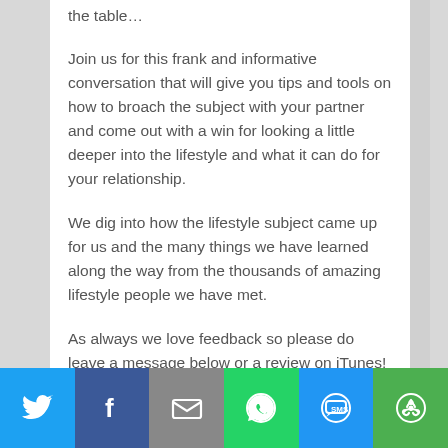the table…
Join us for this frank and informative conversation that will give you tips and tools on how to broach the subject with your partner and come out with a win for looking a little deeper into the lifestyle and what it can do for your relationship.
We dig into how the lifestyle subject came up for us and the many things we have learned along the way from the thousands of amazing lifestyle people we have met.
As always we love feedback so please do leave a message below or a review on iTunes!
[Figure (infographic): Social sharing bar with six buttons: Twitter (blue bird icon), Facebook (dark blue F icon), Email (gray envelope icon), WhatsApp (green phone/speech bubble icon), SMS (blue SMS bubble icon), More/share (green circular arrow icon)]